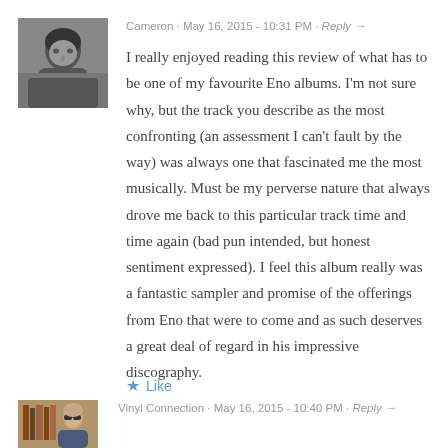[Figure (photo): Black and white avatar photo of commenter Cameron, showing a man's face]
Cameron · May 16, 2015 - 10:31 PM · Reply →
I really enjoyed reading this review of what has to be one of my favourite Eno albums. I'm not sure why, but the track you describe as the most confronting (an assessment I can't fault by the way) was always one that fascinated me the most musically. Must be my perverse nature that always drove me back to this particular track time and time again (bad pun intended, but honest sentiment expressed). I feel this album really was a fantastic sampler and promise of the offerings from Eno that were to come and as such deserves a great deal of regard in his impressive discography.
★ Like
[Figure (photo): Color avatar photo of commenter Vinyl Connection, showing a person with sunglasses]
Vinyl Connection · May 16, 2015 - 10:40 PM · Reply →